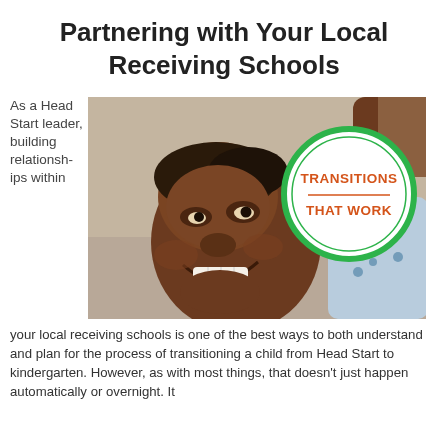Partnering with Your Local Receiving Schools
[Figure (photo): A young smiling child looking upward, with a circular green badge overlay reading 'TRANSITIONS THAT WORK' in orange text.]
As a Head Start leader, building relationships within your local receiving schools is one of the best ways to both understand and plan for the process of transitioning a child from Head Start to kindergarten. However, as with most things, that doesn't just happen automatically or overnight. It